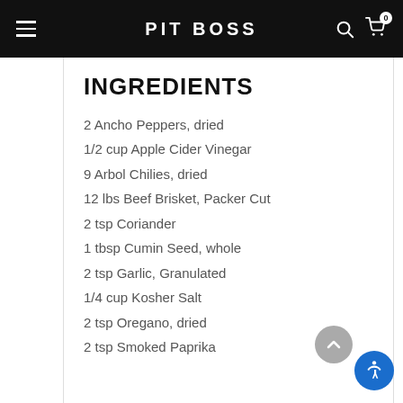PIT BOSS
INGREDIENTS
2 Ancho Peppers, dried
1/2 cup Apple Cider Vinegar
9 Arbol Chilies, dried
12 lbs Beef Brisket, Packer Cut
2 tsp Coriander
1 tbsp Cumin Seed, whole
2 tsp Garlic, Granulated
1/4 cup Kosher Salt
2 tsp Oregano, dried
2 tsp Smoked Paprika